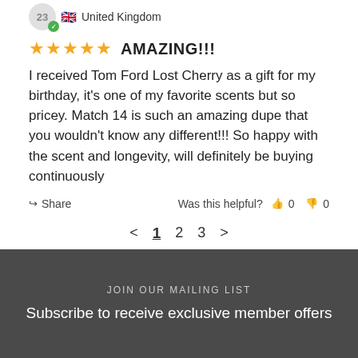23 United Kingdom
★★★★★ AMAZING!!!
I received Tom Ford Lost Cherry as a gift for my birthday, it's one of my favorite scents but so pricey. Match 14 is such an amazing dupe that you wouldn't know any different!!! So happy with the scent and longevity, will definitely be buying continuously
Share  Was this helpful? 👍 0 👎 0
< 1 2 3 >
JOIN OUR MAILING LIST
Subscribe to receive exclusive member offers